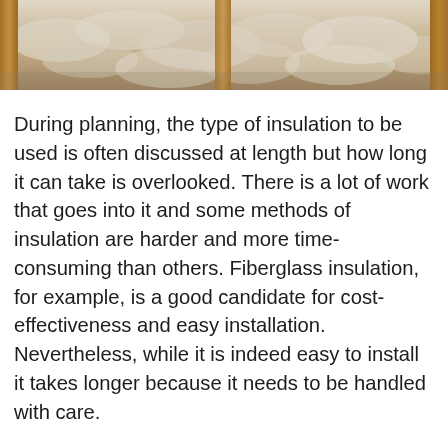[Figure (photo): Close-up photograph of insulation material (appears to be fiberglass or blown-in insulation) between wooden framing/rafters, seen from below looking up.]
During planning, the type of insulation to be used is often discussed at length but how long it can take is overlooked. There is a lot of work that goes into it and some methods of insulation are harder and more time-consuming than others. Fiberglass insulation, for example, is a good candidate for cost-effectiveness and easy installation. Nevertheless, while it is indeed easy to install it takes longer because it needs to be handled with care.
Prefabricated walls mostly come fit with insulation so if you went that route, two birds one stone. Alternatively, you could consider blown-in insulation which is fast and easy to